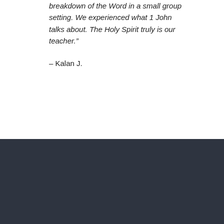breakdown of the Word in a small group setting. We experienced what 1 John talks about. The Holy Spirit truly is our teacher.”
– Kalan J.
Keep in Touch!
Join our subscriber list
Support Solid Lives!
Translate »